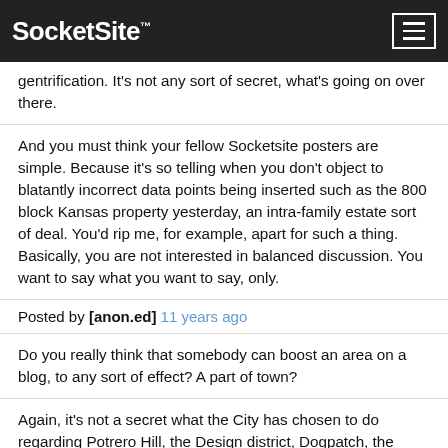SocketSite™
gentrification. It's not any sort of secret, what's going on over there.
And you must think your fellow Socketsite posters are simple. Because it's so telling when you don't object to blatantly incorrect data points being inserted such as the 800 block Kansas property yesterday, an intra-family estate sort of deal. You'd rip me, for example, apart for such a thing. Basically, you are not interested in balanced discussion. You want to say what you want to say, only.
Posted by [anon.ed] 11 years ago
Do you really think that somebody can boost an area on a blog, to any sort of effect? A part of town?
Again, it's not a secret what the City has chosen to do regarding Potrero Hill, the Design district, Dogpatch, the Central Waterfront, or the Rebuild Potrero project. (Nor are the ease of getting onto 280 or Caltrain nonfactors.) These news items have all been featured on Socketsite, and you can see my posts in those threads usually. Now, do I think that Potrero Hill will continue to gentrify? And that now might be a good time to get in, for the reasons I've mentioned? Yes, I do think that. It's my opinion, and I'm far from alone in having it.